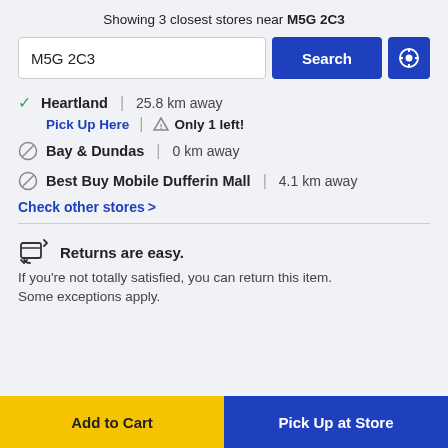Showing 3 closest stores near M5G 2C3
M5G 2C3 [search input]
✓ Heartland | 25.8 km away — Pick Up Here | ⚠ Only 1 left!
⊘ Bay & Dundas | 0 km away
⊘ Best Buy Mobile Dufferin Mall | 4.1 km away
Check other stores >
Returns are easy. If you're not totally satisfied, you can return this item. Some exceptions apply.
Add to Cart
Pick Up at Store